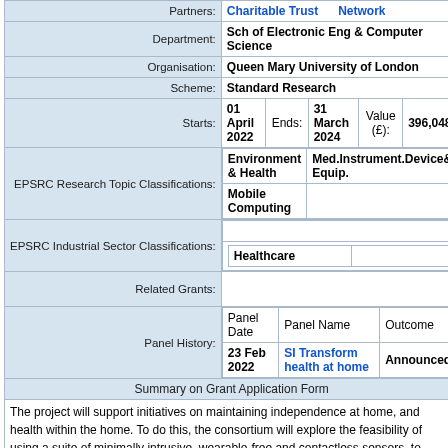| Partners: | Charitable Trust / Network |
| Department: | Sch of Electronic Eng & Computer Science |
| Organisation: | Queen Mary University of London |
| Scheme: | Standard Research |
| Starts: | 01 April 2022 | Ends: 31 March 2024 | Value (£): 396,048 |
| EPSRC Research Topic Classifications: | Environment & Health | Med.Instrument.Device& Equip. | Mobile Computing |
| EPSRC Industrial Sector Classifications: | Healthcare |
| Related Grants: |  |
| Panel History: | Panel Date | Panel Name | Outcome | 23 Feb 2022 | SI Transform health at home | Announced |
| Summary on Grant Application Form |  |
|  | The project will support initiatives on maintaining independence at home, and health within the home. To do this, the consortium will explore the feasibility of using a suite of minimally intrusive, wearable-free and contactless sensors, to create an easy-to-deploy monitoring system for patients at home and in care environments. |